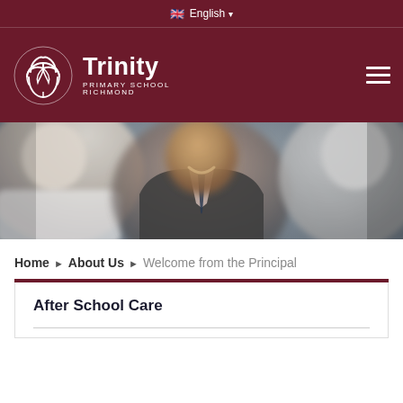English
[Figure (logo): Trinity Primary School Richmond logo with circular interlocking shapes in white on dark red background, with text 'Trinity PRIMARY SCHOOL RICHMOND']
[Figure (photo): Hero photograph showing a smiling man in a suit (the principal) sitting with children in a school setting, blurred foreground]
Home ▶ About Us ▶ Welcome from the Principal
After School Care